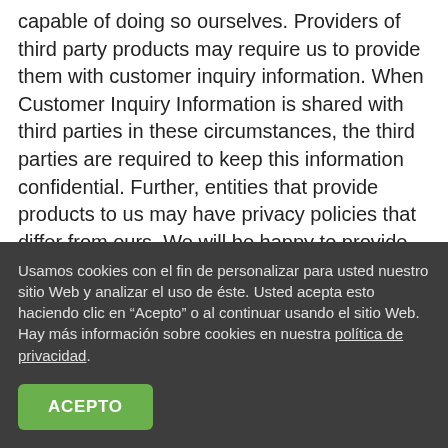capable of doing so ourselves. Providers of third party products may require us to provide them with customer inquiry information. When Customer Inquiry Information is shared with third parties in these circumstances, the third parties are required to keep this information confidential. Further, entities that provide products to us may have privacy policies that differ from ours. We will be happy to provide you with the names of those businesses that
Usamos cookies con el fin de personalizar para usted nuestro sitio Web y analizar el uso de éste. Usted acepta esto haciendo clic en "Acepto" o al continuar usando el sitio Web. Hay más información sobre cookies en nuestra política de privacidad.
ACEPTO